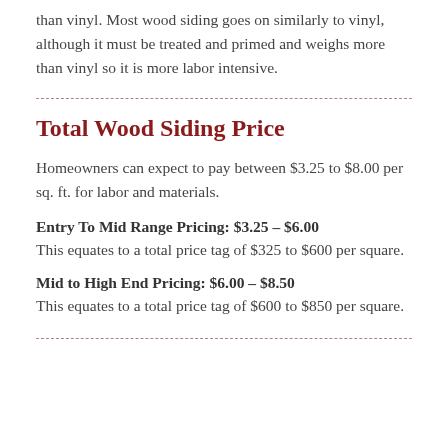than vinyl. Most wood siding goes on similarly to vinyl, although it must be treated and primed and weighs more than vinyl so it is more labor intensive.
Total Wood Siding Price
Homeowners can expect to pay between $3.25 to $8.00 per sq. ft. for labor and materials.
Entry To Mid Range Pricing: $3.25 – $6.00
This equates to a total price tag of $325 to $600 per square.
Mid to High End Pricing: $6.00 – $8.50
This equates to a total price tag of $600 to $850 per square.